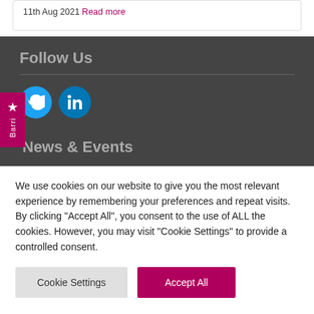11th Aug 2021 Read more
Follow Us
[Figure (illustration): Twitter and LinkedIn social media icons]
News & Events
We use cookies on our website to give you the most relevant experience by remembering your preferences and repeat visits. By clicking "Accept All", you consent to the use of ALL the cookies. However, you may visit "Cookie Settings" to provide a controlled consent.
Cookie Settings | Accept All